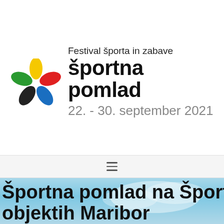[Figure (logo): Colorful flower/pinwheel logo with petals in yellow, red, green, blue, and black colors]
Festival športa in zabave
športna pomlad
22. - 30. september 2021
[Figure (other): Hamburger menu icon (three horizontal lines) on a light gray navigation bar]
Športna pomlad na Športnih objektih Maribor